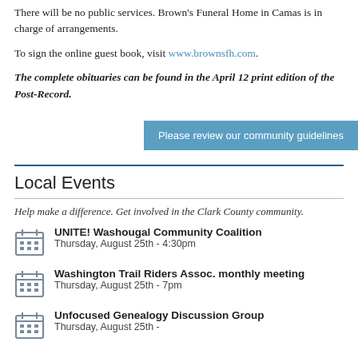There will be no public services. Brown's Funeral Home in Camas is in charge of arrangements.
To sign the online guest book, visit www.brownsfh.com.
The complete obituaries can be found in the April 12 print edition of the Post-Record.
Please review our community guidelines
Local Events
Help make a difference. Get involved in the Clark County community.
UNITE! Washougal Community Coalition
Thursday, August 25th - 4:30pm
Washington Trail Riders Assoc. monthly meeting
Thursday, August 25th - 7pm
Unfocused Genealogy Discussion Group
Thursday, August 25th - (time cut off)